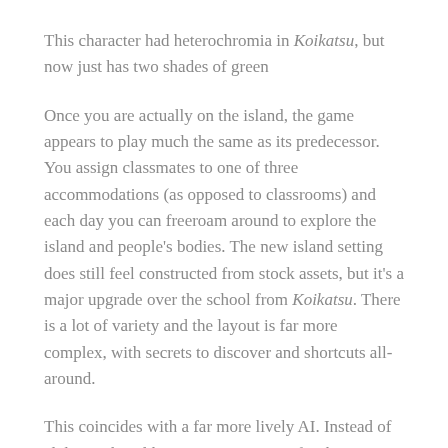This character had heterochromia in Koikatsu, but now just has two shades of green
Once you are actually on the island, the game appears to play much the same as its predecessor. You assign classmates to one of three accommodations (as opposed to classrooms) and each day you can freeroam around to explore the island and people's bodies. The new island setting does still feel constructed from stock assets, but it's a major upgrade over the school from Koikatsu. There is a lot of variety and the layout is far more complex, with secrets to discover and shortcuts all-around.
This coincides with a far more lively AI. Instead of clubs, each girl has a primary reason for their stay (relaxation, intellectual, being outdoors) as well as various activities they like to perform, which are spread across the island.